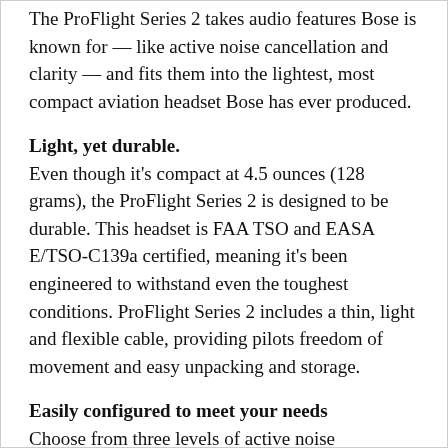The ProFlight Series 2 takes audio features Bose is known for — like active noise cancellation and clarity — and fits them into the lightest, most compact aviation headset Bose has ever produced.
Light, yet durable.
Even though it's compact at 4.5 ounces (128 grams), the ProFlight Series 2 is designed to be durable. This headset is FAA TSO and EASA E/TSO-C139a certified, meaning it's been engineered to withstand even the toughest conditions. ProFlight Series 2 includes a thin, light and flexible cable, providing pilots freedom of movement and easy unpacking and storage.
Easily configured to meet your needs
Choose from three levels of active noise cancellation, control wireless Bluetooth connections to mobile devices,* audio systems, and electronic flight bags, and manage other primary functions of the ProFlight Series 2 from the